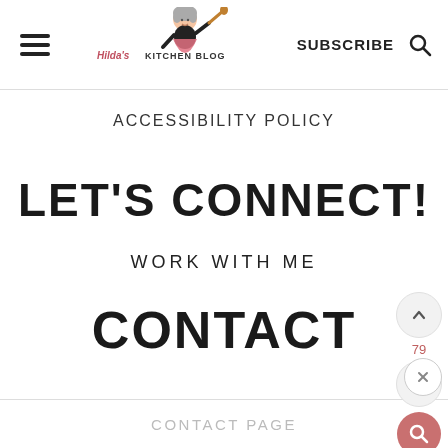[Figure (logo): Hilda's Kitchen Blog logo with illustrated woman in apron holding spoon]
SUBSCRIBE
ACCESSIBILITY POLICY
LET'S CONNECT!
WORK WITH ME
CONTACT
CONTACT PAGE